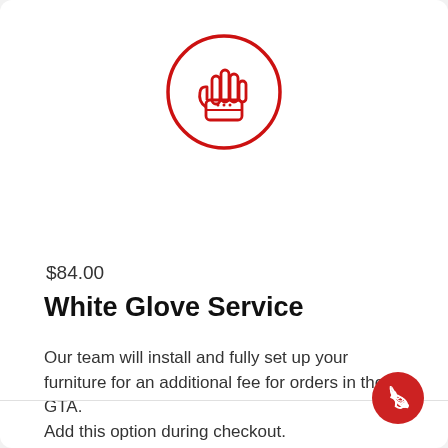[Figure (illustration): Red circular icon with a white glove/hand image inside a red circle border]
$84.00
White Glove Service
Our team will install and fully set up your furniture for an additional fee for orders in the GTA.
Add this option during checkout.
[Figure (other): Red circular phone/call button in bottom right corner]